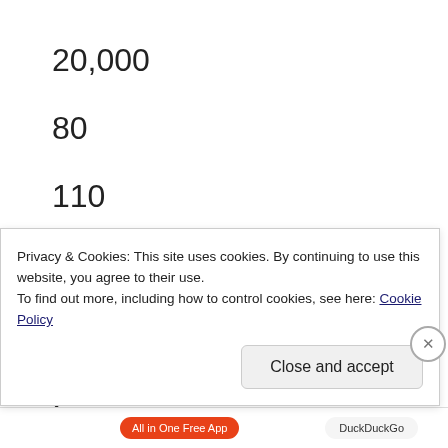20,000
80
110
18
9:04
2
Privacy & Cookies: This site uses cookies. By continuing to use this website, you agree to their use.
To find out more, including how to control cookies, see here: Cookie Policy
Close and accept